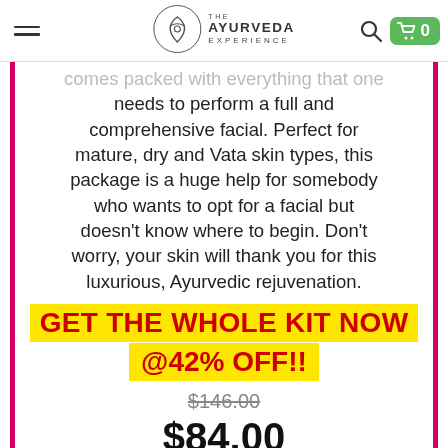The Ayurveda Experience — navigation header with hamburger menu, logo, search icon, and cart (0 items)
comes packed with everything that one needs to perform a full and comprehensive facial. Perfect for mature, dry and Vata skin types, this package is a huge help for somebody who wants to opt for a facial but doesn't know where to begin. Don't worry, your skin will thank you for this luxurious, Ayurvedic rejuvenation.
GET THE WHOLE KIT NOW @42% OFF!!
$146.00
$84.00
or 4 interest-free payments of $21.17
with Zip